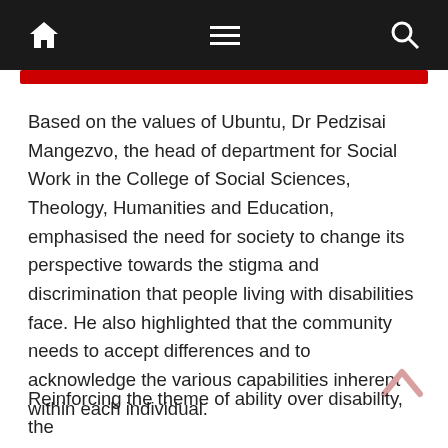Navigation bar with home, menu, and search icons
Based on the values of Ubuntu, Dr Pedzisai Mangezvo, the head of department for Social Work in the College of Social Sciences, Theology, Humanities and Education, emphasised the need for society to change its perspective towards the stigma and discrimination that people living with disabilities face. He also highlighted that the community needs to accept differences and to acknowledge the various capabilities inherent within each individual.
Reinforcing the theme of ability over disability, the